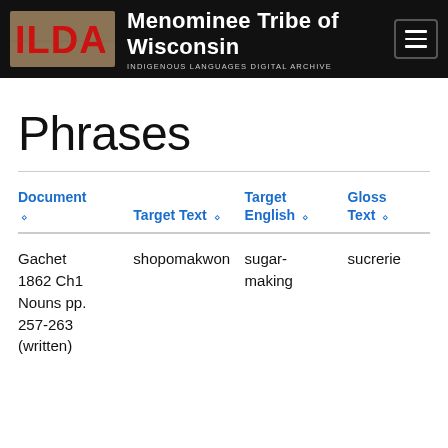ILDA — Menominee Tribe of Wisconsin — Indigenous Languages Digital Archive
Phrases
| Document ⬦ | Target Text ⬦ | Target English ⬦ | Gloss Text ⬦ |
| --- | --- | --- | --- |
| Gachet 1862 Ch1 Nouns pp. 257-263 (written) | shopomakwon | sugar-making | sucrerie |